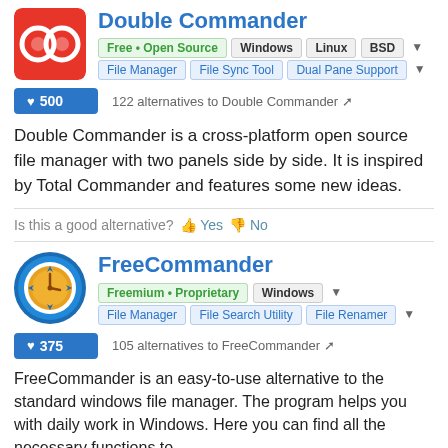[Figure (logo): Double Commander app logo - red circular icon]
Double Commander
Free • Open Source  Windows  Linux  BSD
File Manager  File Sync Tool  Dual Pane Support
500
122 alternatives to Double Commander
Double Commander is a cross-platform open source file manager with two panels side by side. It is inspired by Total Commander and features some new ideas.
Is this a good alternative? Yes  No
[Figure (logo): FreeCommander app logo - blue compass/clock icon]
FreeCommander
Freemium • Proprietary  Windows
File Manager  File Search Utility  File Renamer
375
105 alternatives to FreeCommander
FreeCommander is an easy-to-use alternative to the standard windows file manager. The program helps you with daily work in Windows. Here you can find all the necessary functions to